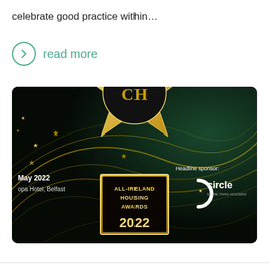celebrate good practice within…
read more
[Figure (photo): All-Ireland Housing Awards 2022 promotional banner. Dark background with golden swirling lines and stars. Central gold star with 'CH' logo. Text reads 'ALL-IRELAND HOUSING AWARDS 2022'. Left side shows 'May 2022, opa Hotel, Belfast'. Right side shows 'Headline sponsor: circle MORE THAN HOUSING'.]